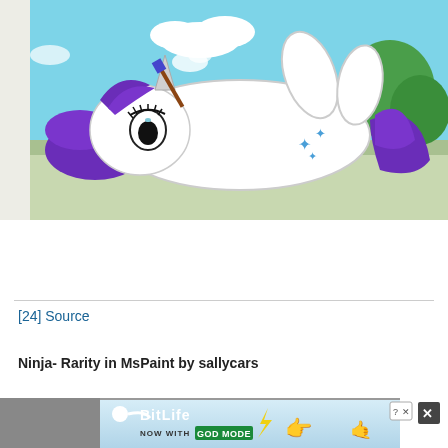[Figure (illustration): Cartoon illustration of Rarity (white unicorn pony with purple mane) from My Little Pony, lying on her back painting her hooves, on a light blue background with clouds and green trees. Snowflake cutie marks visible on flank.]
[24] Source
Ninja- Rarity in MsPaint by sallycars
[Figure (screenshot): Bottom portion shows a BitLife advertisement banner: 'BitLife NOW WITH GOD MODE' with illustrated hands pointing. Close buttons visible in top right.]